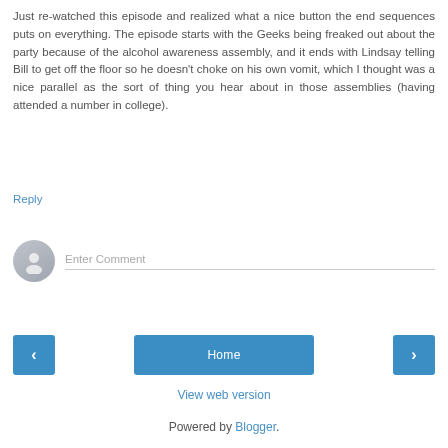Just re-watched this episode and realized what a nice button the end sequences puts on everything. The episode starts with the Geeks being freaked out about the party because of the alcohol awareness assembly, and it ends with Lindsay telling Bill to get off the floor so he doesn't choke on his own vomit, which I thought was a nice parallel as the sort of thing you hear about in those assemblies (having attended a number in college).
Reply
[Figure (other): User avatar placeholder circle with person silhouette icon, next to 'Enter Comment' input field]
< (previous navigation button), Home (center navigation button), > (next navigation button)
View web version
Powered by Blogger.